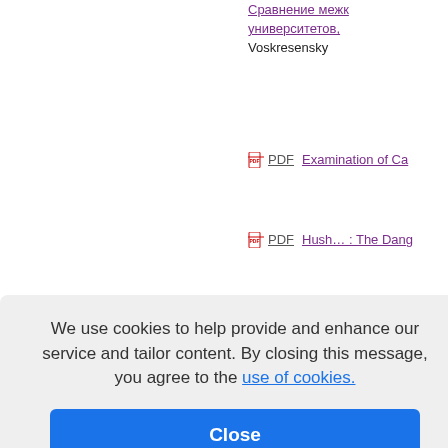Сравнение межк университетов, Voskresensky
PDF  Examination of Ca
PDF  Hush... : The Dang
PDF  A High-p/Low-p Pr Cognitive Impairm
Link  Real World, Real C Douty Nolan, and
orld, Real C and Danie
igital Survi ent, Kendal
ikings! Trai
We use cookies to help provide and enhance our service and tailor content. By closing this message, you agree to the use of cookies.